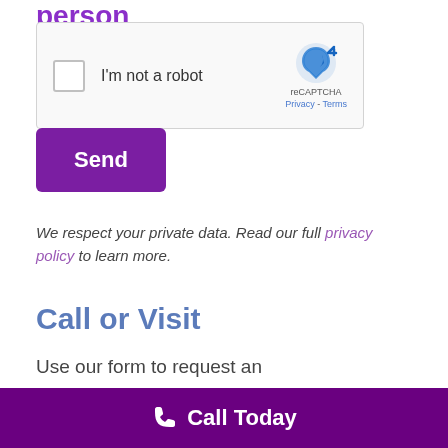person
[Figure (other): reCAPTCHA widget with checkbox labeled 'I'm not a robot' and reCAPTCHA logo with Privacy and Terms links]
Send
We respect your private data. Read our full privacy policy to learn more.
Call or Visit
Use our form to request an
📞 Call Today